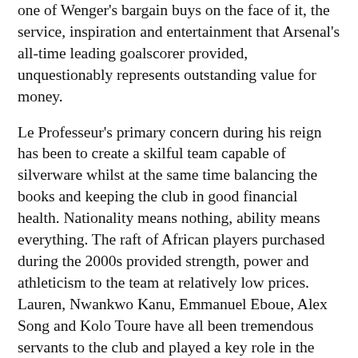one of Wenger's bargain buys on the face of it, the service, inspiration and entertainment that Arsenal's all-time leading goalscorer provided, unquestionably represents outstanding value for money.
Le Professeur's primary concern during his reign has been to create a skilful team capable of silverware whilst at the same time balancing the books and keeping the club in good financial health. Nationality means nothing, ability means everything. The raft of African players purchased during the 2000s provided strength, power and athleticism to the team at relatively low prices. Lauren, Nwankwo Kanu, Emmanuel Eboue, Alex Song and Kolo Toure have all been tremendous servants to the club and played a key role in the Gunners' successes of the last decade or so. However, as the African Cup of Nations looms on the horizon there is a clear contrast in this Arsenal team to that of recent years. Wenger will lose only Song and Eboue for national duty this time around whereas in previous campaigns the impact has been far greater. The heavy African influence has served Arsenal well in